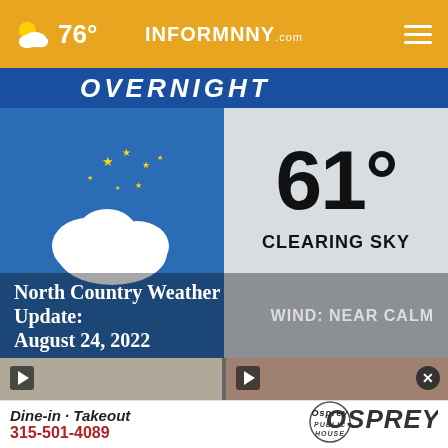76° | INFORMNNY.com
[Figure (screenshot): Weather broadcast screenshot showing overnight forecast. Blue background on left with cloud and stars icon, gray background on right showing 61° temperature, CLEARING SKY, WIND: NEAR CALM. Text overlay at bottom: North Country Weather Update: August 24, 2022]
[Figure (screenshot): Two video thumbnails side by side with play buttons]
[Figure (infographic): Advertisement banner: Dine-in · Takeout, 315-501-4089, Osprey Public House logo]